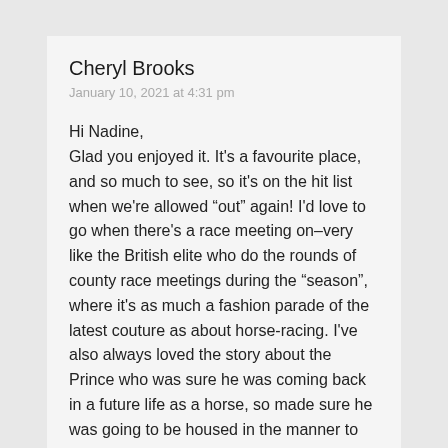Cheryl Brooks
January 10, 2021 at 4:31 pm
Hi Nadine,
Glad you enjoyed it. It's a favourite place, and so much to see, so it's on the hit list when we're allowed “out” again! I'd love to go when there's a race meeting on–very like the British elite who do the rounds of county race meetings during the “season”, where it's as much a fashion parade of the latest couture as about horse-racing. I've also always loved the story about the Prince who was sure he was coming back in a future life as a horse, so made sure he was going to be housed in the manner to which he was accustomed! Helps